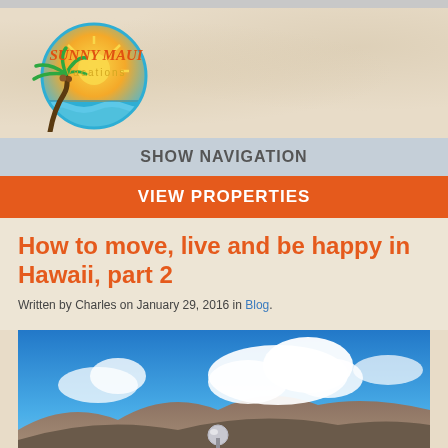[Figure (logo): Sunny Maui Vacations logo with palm tree, sun, and ocean waves in a circular design]
SHOW NAVIGATION
VIEW PROPERTIES
How to move, live and be happy in Hawaii, part 2
Written by Charles on January 29, 2016 in Blog.
[Figure (photo): Blue sky with white clouds over a mountain range, with a metallic sphere sculpture in the foreground]